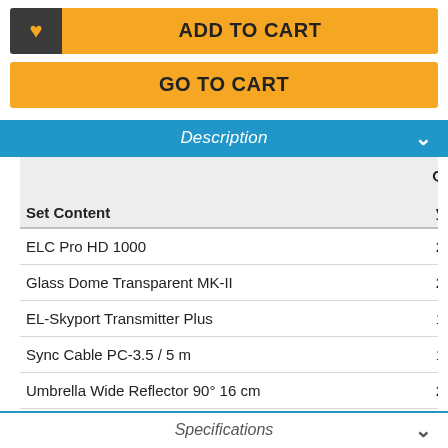ADD TO CART
GO TO CART
Description
| Set Content | Qty |
| --- | --- |
| ELC Pro HD 1000 | 2 |
| Glass Dome Transparent MK-II | 2 |
| EL-Skyport Transmitter Plus | 1 |
| Sync Cable PC-3.5 / 5 m | 1 |
| Umbrella Wide Reflector 90° 16 cm | 2 |
| ProTec Location Bag | 1 |
Specifications